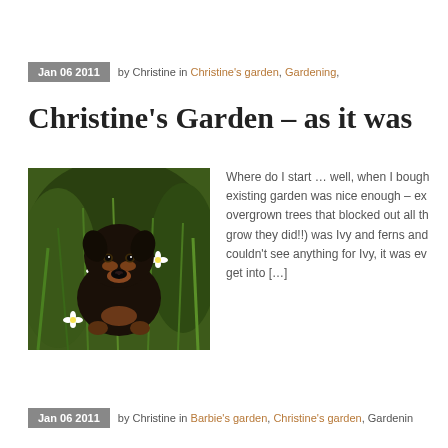Jan 06 2011 by Christine in Christine's garden, Gardening,
Christine's Garden – as it was
[Figure (photo): A black and tan Rottweiler puppy sitting among white daisy flowers and green foliage outdoors]
Where do I start … well, when I bought the existing garden was nice enough – ex overgrown trees that blocked out all th grow they did!!) was Ivy and ferns and couldn't see anything for Ivy, it was ev get into […]
Jan 06 2011 by Christine in Barbie's garden, Christine's garden, Gardenin